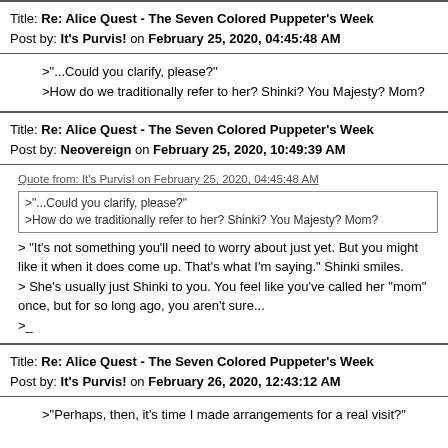Title: Re: Alice Quest - The Seven Colored Puppeter's Week
Post by: It's Purvis! on February 25, 2020, 04:45:48 AM
>"...Could you clarify, please?"
>How do we traditionally refer to her? Shinki? You Majesty? Mom?
Title: Re: Alice Quest - The Seven Colored Puppeter's Week
Post by: Neovereign on February 25, 2020, 10:49:39 AM
Quote from: It's Purvis! on February 25, 2020, 04:45:48 AM
>"...Could you clarify, please?"
>How do we traditionally refer to her? Shinki? You Majesty? Mom?
> "It's not something you'll need to worry about just yet. But you might like it when it does come up. That's what I'm saying." Shinki smiles.
> She's usually just Shinki to you. You feel like you've called her "mom" once, but for so long ago, you aren't sure...
>_
Title: Re: Alice Quest - The Seven Colored Puppeter's Week
Post by: It's Purvis! on February 26, 2020, 12:43:12 AM
>"Perhaps, then, it's time I made arrangements for a real visit?"